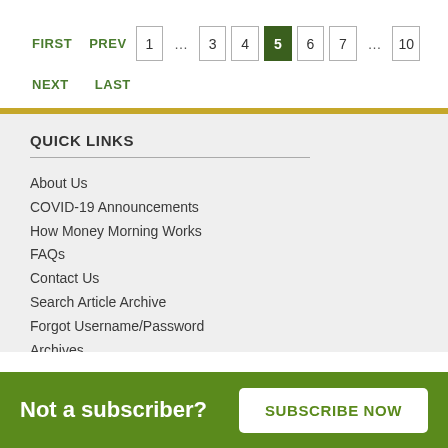FIRST  PREV  1  ...  3  4  5  6  7  ...  10  NEXT  LAST
QUICK LINKS
About Us
COVID-19 Announcements
How Money Morning Works
FAQs
Contact Us
Search Article Archive
Forgot Username/Password
Archives
Profit Academy
Research
Your Team
Not a subscriber?  SUBSCRIBE NOW